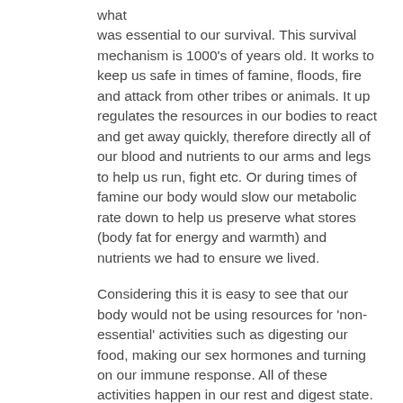what was essential to our survival. This survival mechanism is 1000's of years old. It works to keep us safe in times of famine, floods, fire and attack from other tribes or animals. It up regulates the resources in our bodies to react and get away quickly, therefore directly all of our blood and nutrients to our arms and legs to help us run, fight etc. Or during times of famine our body would slow our metabolic rate down to help us preserve what stores (body fat for energy and warmth) and nutrients we had to ensure we lived.
Considering this it is easy to see that our body would not be using resources for 'non-essential' activities such as digesting our food, making our sex hormones and turning on our immune response. All of these activities happen in our rest and digest state.
Feelings of stress have a wide influence over most of our body systems and functions. This is controlled by two main stress hormones – adrenalin and cortisol – both which communicate different messages to our body.
Adrenalin